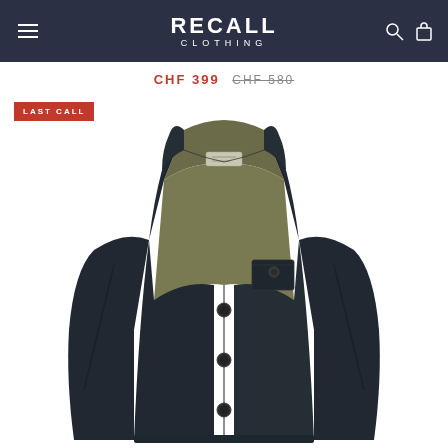RECALL CLOTHING
CHF 399  CHF 580
[Figure (photo): Dark navy/black quilted blazer-style jacket with notched lapels, chest pocket with button, three front buttons, open front revealing olive/khaki interior lining with a label visible at collar. White background product shot. LAST CALL badge in red top-left corner.]